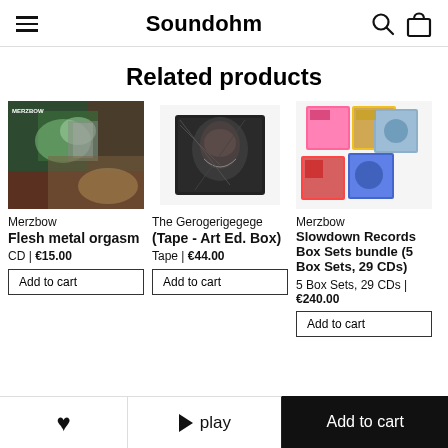Soundohm
Related products
[Figure (photo): Album cover for Merzbow - Flesh metal orgasm, colorful abstract image with green and brown tones]
Merzbow
Flesh metal orgasm
CD | €15.00
Add to cart
[Figure (photo): Album cover/product image for The Gerogerigegege - dark box with woman face illustration]
The Gerogerigegege
(Tape - Art Ed. Box)
Tape | €44.00
Add to cart
[Figure (photo): Merzbow Slowdown Records Box Sets bundle product image showing 5 colorful CD box sets]
Merzbow
Slowdown Records Box Sets bundle (5 Box Sets, 29 CDs)
5 Box Sets, 29 CDs | €240.00
Add to cart
❤  ▶ play  Add to cart